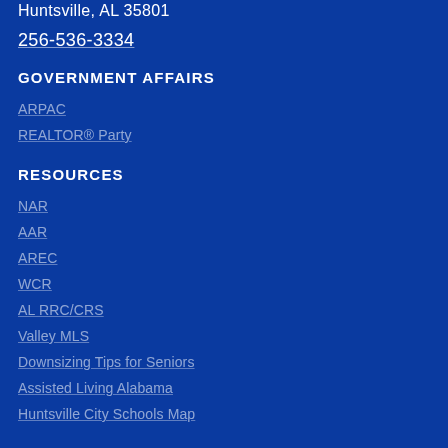Huntsville, AL 35801
256-536-3334
GOVERNMENT AFFAIRS
ARPAC
REALTOR® Party
RESOURCES
NAR
AAR
AREC
WCR
AL RRC/CRS
Valley MLS
Downsizing Tips for Seniors
Assisted Living Alabama
Huntsville City Schools Map